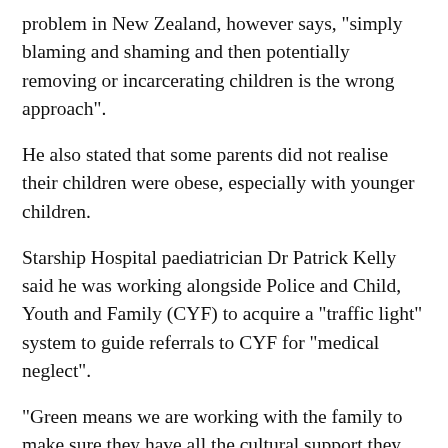problem in New Zealand, however says, "simply blaming and shaming and then potentially removing or incarcerating children is the wrong approach".
He also stated that some parents did not realise their children were obese, especially with younger children.
Starship Hospital paediatrician Dr Patrick Kelly said he was working alongside Police and Child, Youth and Family (CYF) to acquire a "traffic light" system to guide referrals to CYF for "medical neglect".
"Green means we are working with the family to make sure they have all the cultural support they need and all the access issues in place, such as transport," he said.
"Orange is where you are starting to think we are still not making progress and this is putting a child at risk. Red is where you are starting to involve the statutory